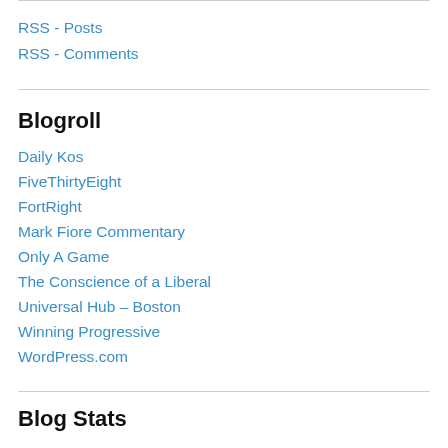RSS - Posts
RSS - Comments
Blogroll
Daily Kos
FiveThirtyEight
FortRight
Mark Fiore Commentary
Only A Game
The Conscience of a Liberal
Universal Hub – Boston
Winning Progressive
WordPress.com
Blog Stats